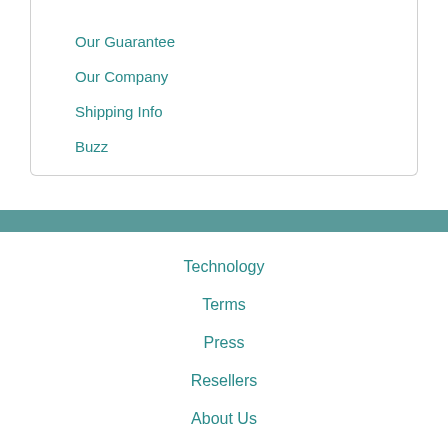Information
Our Guarantee
Our Company
Shipping Info
Buzz
Technology
Terms
Press
Resellers
About Us